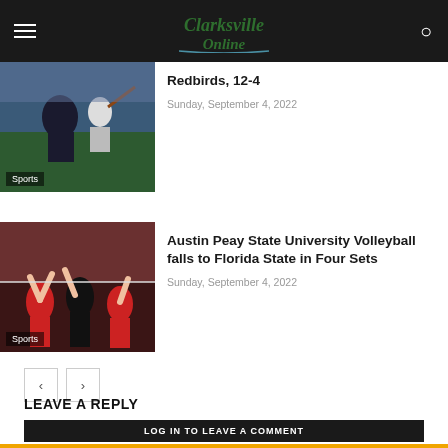Clarksville Online
Redbirds, 12-4
Sunday, September 4, 2022
[Figure (photo): Baseball action photo with catcher and batter, Sports tag overlay]
Austin Peay State University Volleyball falls to Florida State in Four Sets
Sunday, September 4, 2022
[Figure (photo): Volleyball players reaching up at net, Sports tag overlay]
LEAVE A REPLY
LOG IN TO LEAVE A COMMENT